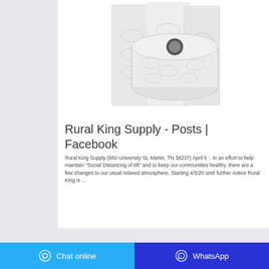[Figure (photo): Product photo showing three white paper towel rolls arranged together on a white background]
Rural King Supply - Posts | Facebook
Rural King Supply (850 University St, Martin, TN 38237) April 5 ·. In an effort to help maintain "Social Distancing of 6ft" and to keep our communities healthy, there are a few changes to our usual relaxed atmosphere. Starting 4/5/20 until further notice Rural King is …
Chat online   WhatsApp